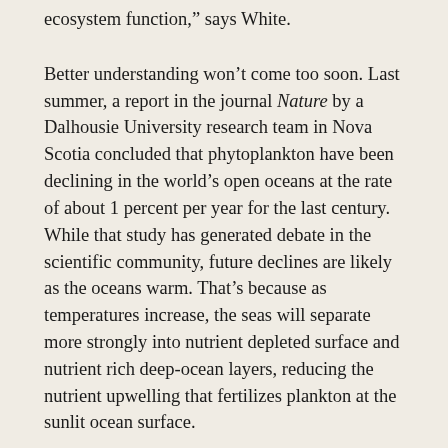ecosystem function," says White.
Better understanding won't come too soon. Last summer, a report in the journal Nature by a Dalhousie University research team in Nova Scotia concluded that phytoplankton have been declining in the world's open oceans at the rate of about 1 percent per year for the last century. While that study has generated debate in the scientific community, future declines are likely as the oceans warm. That's because as temperatures increase, the seas will separate more strongly into nutrient depleted surface and nutrient rich deep-ocean layers, reducing the nutrient upwelling that fertilizes plankton at the sunlit ocean surface.
Letelier agrees that warmer oceans will likely mean lower plankton productivity globally. However, he adds, it's not that simple. In some areas, production is increasing. For example, through nearly 20 years of intensive study at a